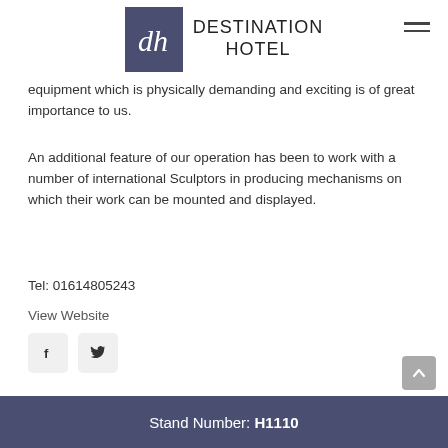DESTINATION HOTEL
equipment which is physically demanding and exciting is of great importance to us.
An additional feature of our operation has been to work with a number of international Sculptors in producing mechanisms on which their work can be mounted and displayed.
Tel: 01614805243
View Website
[Figure (other): Social media icons: Facebook and Twitter buttons]
Stand Number: H1110